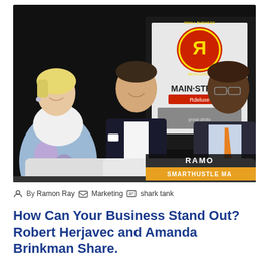[Figure (photo): Three people seated in a studio interview setting. A blonde woman in a floral dress on the left, a man in a dark suit in the center, and a man in a vest with an orange tie on the right. Behind them is a 'Main Street' / Small Business Revolution banner with a Deluxe logo. Lower right shows name chyron: RAMON / SMARTHUSTLE MA]
By Ramon Ray   Marketing   shark tank
How Can Your Business Stand Out? Robert Herjavec and Amanda Brinkman Share.